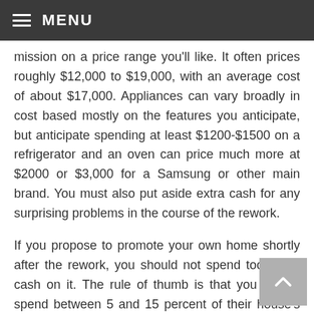≡ MENU
mission on a price range you'll like. It often prices roughly $12,000 to $19,000, with an average cost of about $17,000. Appliances can vary broadly in cost based mostly on the features you anticipate, but anticipate spending at least $1200-$1500 on a refrigerator and an oven can price much more at $2000 or $3,000 for a Samsung or other main brand. You must also put aside extra cash for any surprising problems in the course of the rework.
If you propose to promote your own home shortly after the rework, you should not spend too much cash on it. The rule of thumb is that you should spend between 5 and 15 percent of their house's whole worth on your kitchen transform. Good quality lighting within the kitchen